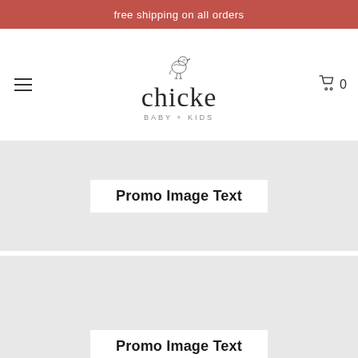free shipping on all orders
[Figure (logo): Chicke baby + kids logo with a small bird illustration above the brand name]
Promo Image Text
Promo Image Text